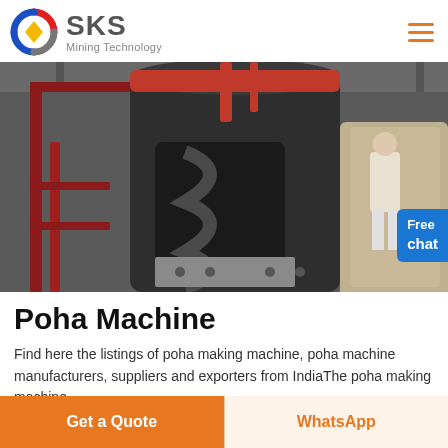SKS Mining Technology
[Figure (photo): Industrial mining machine (vertical crusher/mill) photographed from below in a factory setting, with red structural frame, dark gray cylindrical body, and a person in white visible at right. Blue 'Free chat' badge overlaid at lower right.]
Poha Machine
Find here the listings of poha making machine, poha machine manufacturers, suppliers and exporters from IndiaThe poha making machine.
Get a Quote
WhatsApp